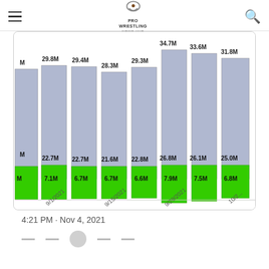Pro Wrestling News Hub
[Figure (stacked-bar-chart): Pro Wrestling viewership chart]
4:21 PM · Nov 4, 2021